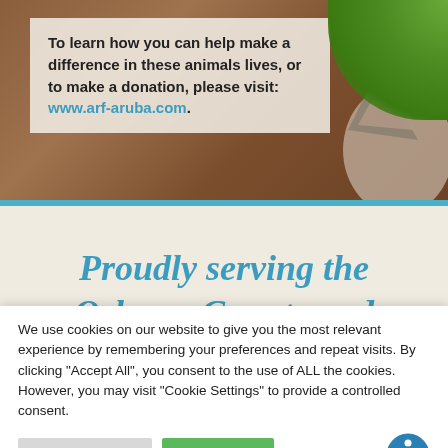To learn how you can help make a difference in these animals lives, or to make a donation, please visit: www.arf-aruba.com.
[Figure (photo): Photo background of a wooden surface with a cat ear visible on the right side, and green foliage in the top right corner. A semi-transparent beige text overlay box sits on the left.]
Proudly serving the Orleans County and
We use cookies on our website to give you the most relevant experience by remembering your preferences and repeat visits. By clicking "Accept All", you consent to the use of ALL the cookies. However, you may visit "Cookie Settings" to provide a controlled consent.